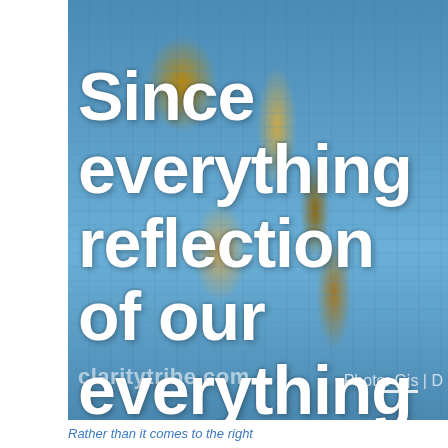[Figure (photo): A photo of rippling water with blue and golden-brown tones, serving as the background for an inspirational quote overlay. The text reads: 'Since everything reflection of our everything can b changed by our' with 'claritytribe.com Photo: Gjs | D' watermark at the bottom.]
Since everything reflection of our everything can b changed by our
claritytribe.com Photo: Gjs | D
Rather than it comes to the right...